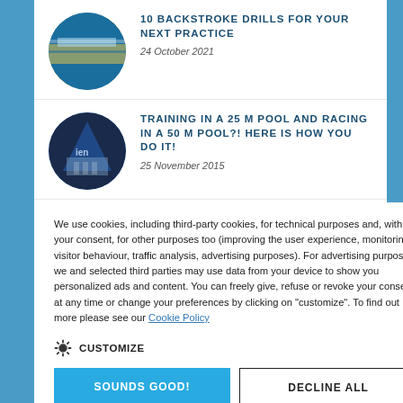[Figure (photo): Circular photo of swimmer doing backstroke in pool with yellow lane dividers]
10 BACKSTROKE DRILLS FOR YOUR NEXT PRACTICE
24 October 2021
[Figure (photo): Circular aerial photo of an indoor 25m swimming pool with lane markings]
TRAINING IN A 25 M POOL AND RACING IN A 50 M POOL?! HERE IS HOW YOU DO IT!
25 November 2015
We use cookies, including third-party cookies, for technical purposes and, with your consent, for other purposes too (improving the user experience, monitoring visitor behaviour, traffic analysis, advertising purposes). For advertising purposes, we and selected third parties may use data from your device to show you personalized ads and content. You can freely give, refuse or revoke your consent at any time or change your preferences by clicking on "customize". To find out more please see our Cookie Policy
CUSTOMIZE
SOUNDS GOOD!
DECLINE ALL